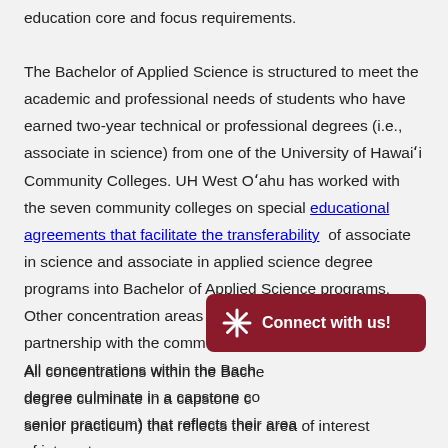education core and focus requirements.
The Bachelor of Applied Science is structured to meet the academic and professional needs of students who have earned two-year technical or professional degrees (i.e., associate in science) from one of the University of Hawaiʻi Community Colleges. UH West Oʻahu has worked with the seven community colleges on special educational agreements that facilitate the transferability of associate in science and associate in applied science degree programs into Bachelor of Applied Science programs. Other concentration areas are being developed in partnership with the community colleges.
All concentrations within the Bachelor of Applied Science degree culminate in a capstone course (also known as a senior practicum) that reflects their area of interest
[Figure (other): Red 'Connect with us!' button with a white star/asterisk icon]